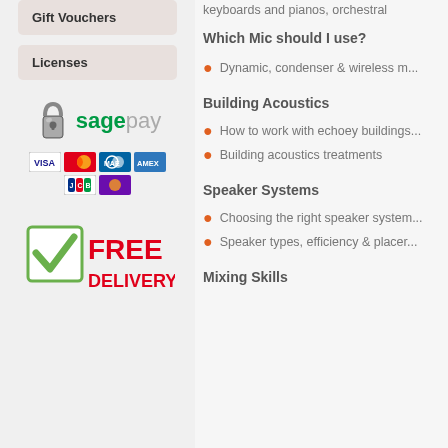Gift Vouchers
Licenses
[Figure (logo): Sage Pay payment gateway logo with padlock icon]
[Figure (logo): Payment card icons: VISA, Mastercard, Maestro, American Express, JCB, Discover]
[Figure (illustration): Free Delivery badge with green checkmark]
keyboards and pianos, orchestral...
Which Mic should I use?
Dynamic, condenser & wireless m...
Building Acoustics
How to work with echoey buildings...
Building acoustics treatments
Speaker Systems
Choosing the right speaker system...
Speaker types, efficiency & placer...
Mixing Skills